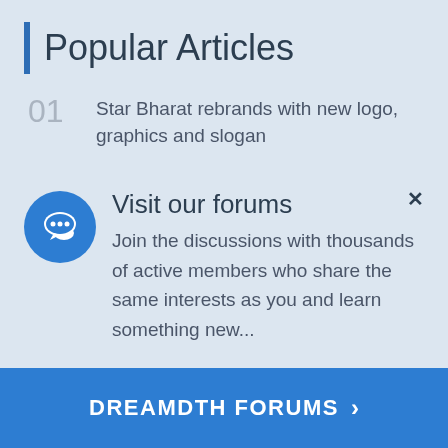Popular Articles
01 Star Bharat rebrands with new logo, graphics and slogan
02 DD National to undergo rebranding on Independence Day with new shows
Visit our forums
Join the discussions with thousands of active members who share the same interests as you and learn something new...
DREAMDTH FORUMS >